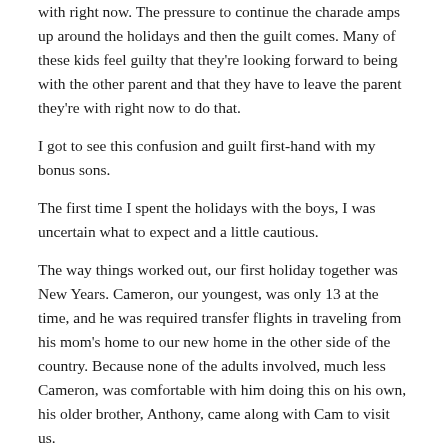with right now. The pressure to continue the charade amps up around the holidays and then the guilt comes. Many of these kids feel guilty that they're looking forward to being with the other parent and that they have to leave the parent they're with right now to do that.
I got to see this confusion and guilt first-hand with my bonus sons.
The first time I spent the holidays with the boys, I was uncertain what to expect and a little cautious.
The way things worked out, our first holiday together was New Years. Cameron, our youngest, was only 13 at the time, and he was required transfer flights in traveling from his mom's home to our new home in the other side of the country. Because none of the adults involved, much less Cameron, was comfortable with him doing this on his own, his older brother, Anthony, came along with Cam to visit us.
The boys were extremely happy to be spending time with their dad. I did my best to make sure we all had a fun time and celebrated the New Year in a way that everyone could participate in. (I bought some fun champagne flutes and chilled a bunch of Dr Pepper. Instead of toasting in the New Year with a glass of champagne, we welcomed it with our Dr Pepper and a burping contest. Talk about unusual and fun!)